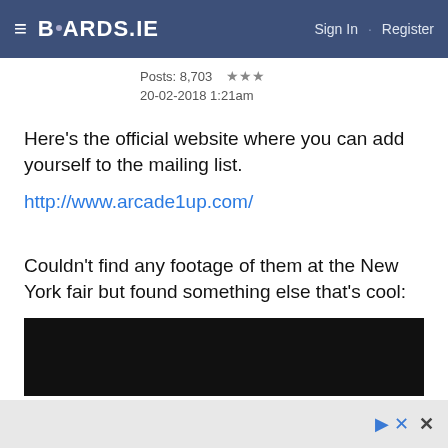BOARDS.IE  Sign In · Register
Posts: 8,703  ★★★
20-02-2018 1:21am
Here's the official website where you can add yourself to the mailing list.
http://www.arcade1up.com/
Couldn't find any footage of them at the New York fair but found something else that's cool:
[Figure (screenshot): Black video thumbnail/player area]
Ad controls: play, close (×)